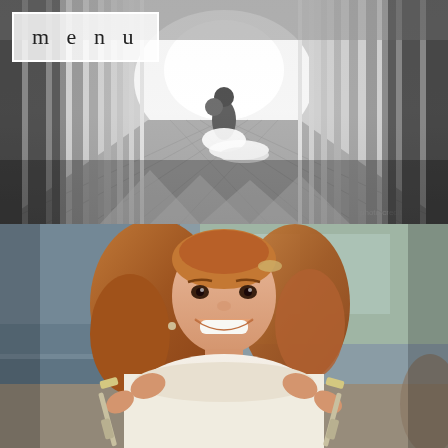[Figure (photo): Black and white wedding photo of a couple kissing/dipping on a long bridge or covered walkway with repeating vertical columns on both sides creating a dramatic perspective. A small rectangular overlay in the upper-left corner reads 'menu' in a boxed label.]
[Figure (photo): Color photo of a smiling bride with long reddish-brown wavy hair, wearing a white strapless wedding dress, holding up decorated cake-cutting utensils (knife and server) in both hands. Interior reception venue background visible.]